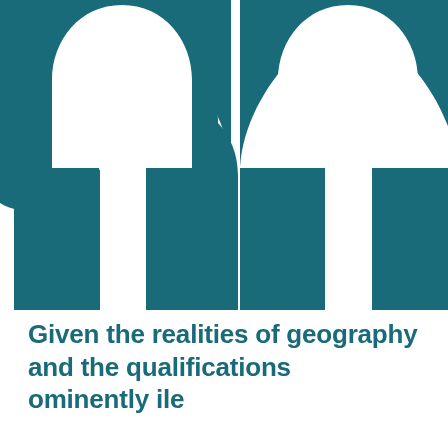[Figure (illustration): Large decorative double quotation mark graphic in teal/dark cyan color occupying the upper two-thirds of the page]
Given the realities of geography and the qualificationsominently ile